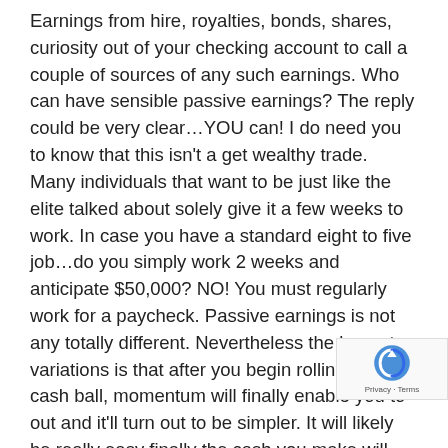Earnings from hire, royalties, bonds, shares, curiosity out of your checking account to call a couple of sources of any such earnings. Who can have sensible passive earnings? The reply could be very clear…YOU can! I do need you to know that this isn't a get wealthy trade. Many individuals that want to be just like the elite talked about solely give it a few weeks to work. In case you have a standard eight to five job…do you simply work 2 weeks and anticipate $50,000? NO! You must regularly work for a paycheck. Passive earnings is not any totally different. Nevertheless the largest variations is that after you begin rolling the cash ball, momentum will finally enable you to out and it'll turn out to be simpler. It will likely be really easy finally the cash you make will actually be 24/7. Sure even when YOU are SLEEPING! Sensible passive earnings will not be all the time about onerous work. After getting your small business established then it's worthwhile to put in effort to get the ball rolling. This may take some time, so please don't be annoyed. Nevertheless the excellent news is that after that